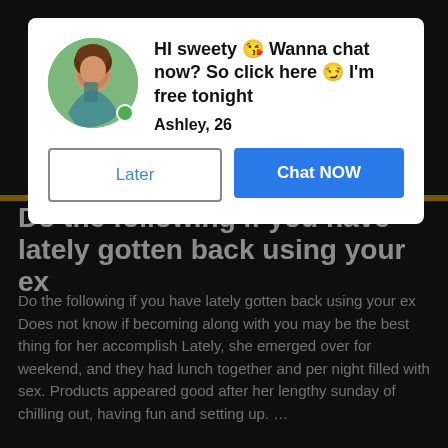[Figure (screenshot): Chat notification modal overlay on a dark-themed blog page. Modal shows a female avatar with green online indicator, bold text 'HI sweety 😘 Wanna chat now? So click here 😏 I'm free tonight', name 'Ashley, 26', and two buttons: 'Later' and 'Chat NOW'. Background shows article title 'Do the following if you have lately gotten back using your ex' and article body text, plus READ MORE button.]